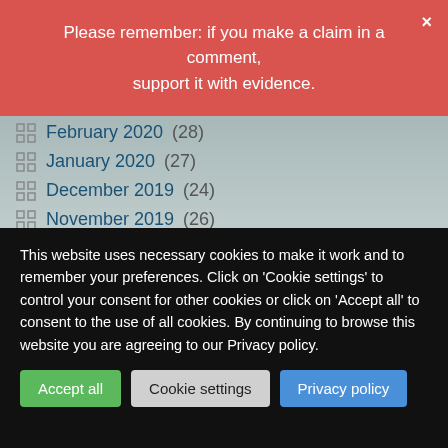Please remember: if you make a claim in a comment, support it with evidence.
February 2020 (28)
January 2020 (27)
December 2019 (24)
November 2019 (26)
October 2019 (26)
September 2019 (25)
August 2019 (26)
July 2019 (27)
June 2019 (25)
May 2019 (30)
This website uses necessary cookies to make it work and to remember your preferences. Click on 'Cookie settings' to control your consent for other cookies or click on 'Accept all' to consent to the use of all cookies. By continuing to browse this website you are agreeing to our Privacy policy.